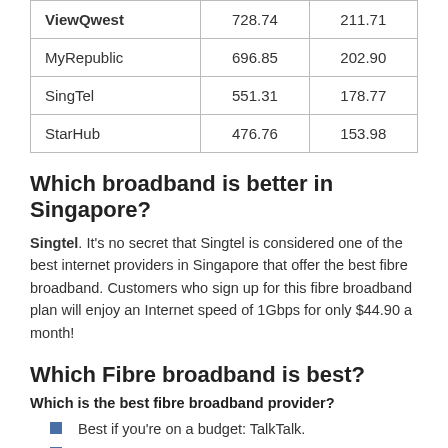| ViewQwest | 728.74 | 211.71 |
| MyRepublic | 696.85 | 202.90 |
| SingTel | 551.31 | 178.77 |
| StarHub | 476.76 | 153.98 |
Which broadband is better in Singapore?
Singtel. It's no secret that Singtel is considered one of the best internet providers in Singapore that offer the best fibre broadband. Customers who sign up for this fibre broadband plan will enjoy an Internet speed of 1Gbps for only $44.90 a month!
Which Fibre broadband is best?
Which is the best fibre broadband provider?
Best if you're on a budget: TalkTalk.
Fastest fibre provider: Virgin Media.